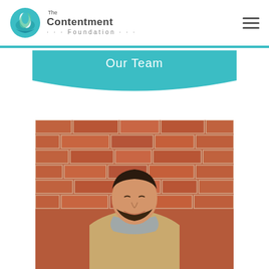[Figure (logo): The Contentment Foundation logo with teal globe/leaf icon and text]
Our Team
[Figure (photo): Young man smiling, wearing a tan jacket and grey scarf, standing in front of a red brick wall]